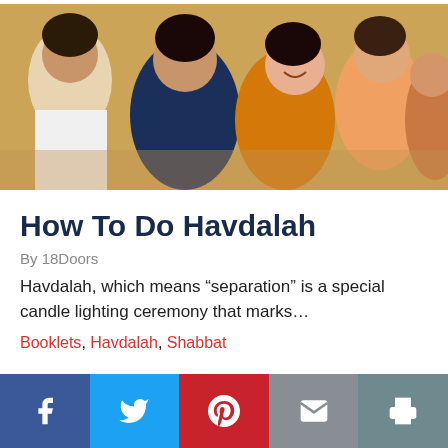[Figure (photo): Group of young adults laughing and socializing outdoors, one person with back turned wearing a navy shirt, others smiling and chatting]
How To Do Havdalah
By 18Doors
Havdalah, which means “separation” is a special candle lighting ceremony that marks…
Booklets, Havdalah, Shabbat